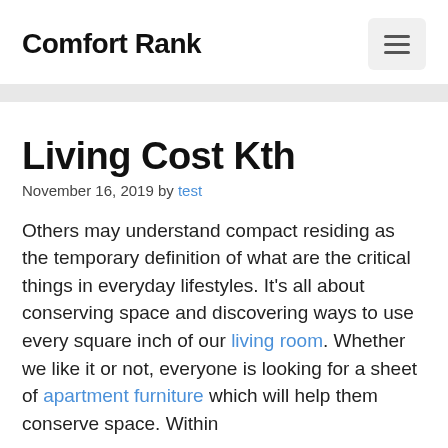Comfort Rank
Living Cost Kth
November 16, 2019 by test
Others may understand compact residing as the temporary definition of what are the critical things in everyday lifestyles. It's all about conserving space and discovering ways to use every square inch of our living room. Whether we like it or not, everyone is looking for a sheet of apartment furniture which will help them conserve space. Within